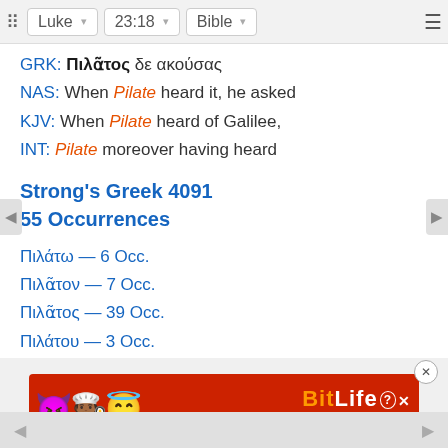Luke | 23:18 | Bible
GRK: Πιλᾶτος δε ακούσας
NAS: When Pilate heard it, he asked
KJV: When Pilate heard of Galilee,
INT: Pilate moreover having heard
Strong's Greek 4091
55 Occurrences
Πιλάτω — 6 Occ.
Πιλᾶτον — 7 Occ.
Πιλᾶτος — 39 Occ.
Πιλάτου — 3 Occ.
[Figure (screenshot): BitLife - Real Choices advertisement banner with emoji characters]